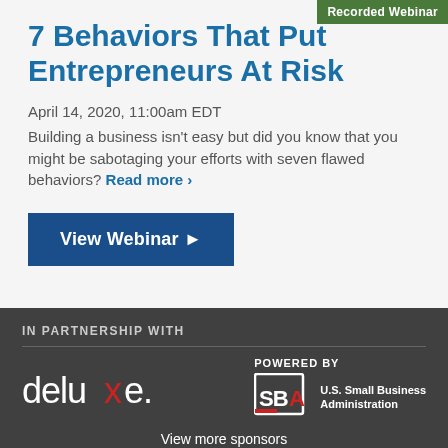Recorded Webinar
7 Behaviors That Put Entrepreneurs At Risk
April 14, 2020, 11:00am EDT
Building a business isn't easy but did you know that you might be sabotaging your efforts with seven flawed behaviors? Read more >
View Webinar ▶
IN PARTNERSHIP WITH
[Figure (logo): deluxe. logo — white text with red x]
[Figure (logo): POWERED BY SBA U.S. Small Business Administration logo]
View more sponsors